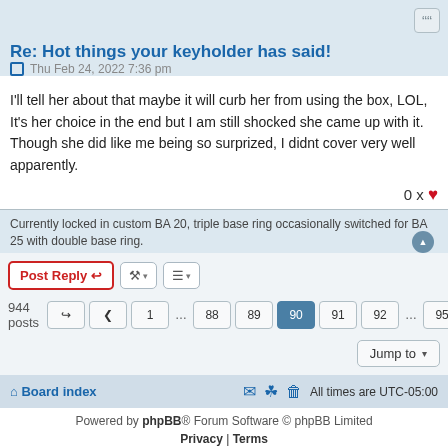Re: Hot things your keyholder has said!
Thu Feb 24, 2022 7:36 pm
I'll tell her about that maybe it will curb her from using the box, LOL, It's her choice in the end but I am still shocked she came up with it. Though she did like me being so surprized, I didnt cover very well apparently.
0 x ♥
Currently locked in custom BA 20, triple base ring occasionally switched for BA 25 with double base ring.
Post Reply
944 posts  1 ... 88 89 90 91 92 ... 95
Jump to
Board index   All times are UTC-05:00
Powered by phpBB® Forum Software © phpBB Limited
Privacy | Terms